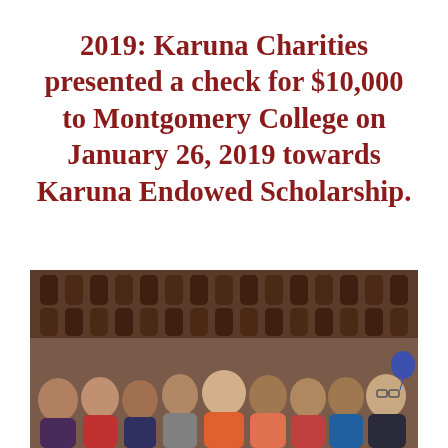2019: Karuna Charities presented a check for $10,000 to Montgomery College on January 26, 2019 towards Karuna Endowed Scholarship.
[Figure (photo): Group photo of approximately 9 people posing together indoors in front of a wine rack background. The group includes mostly women and one man on the right side. Several people are wearing colorful tops including red, pink, and blue. A blue balloon is visible on the right side.]